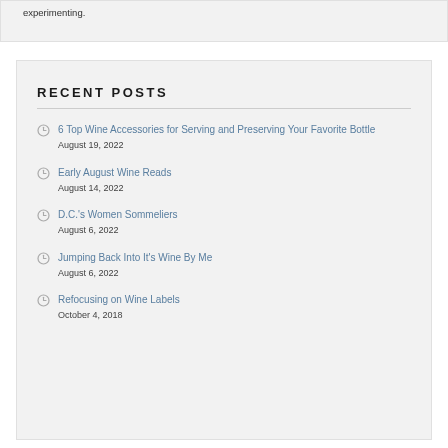experimenting.
RECENT POSTS
6 Top Wine Accessories for Serving and Preserving Your Favorite Bottle
August 19, 2022
Early August Wine Reads
August 14, 2022
D.C.'s Women Sommeliers
August 6, 2022
Jumping Back Into It's Wine By Me
August 6, 2022
Refocusing on Wine Labels
October 4, 2018